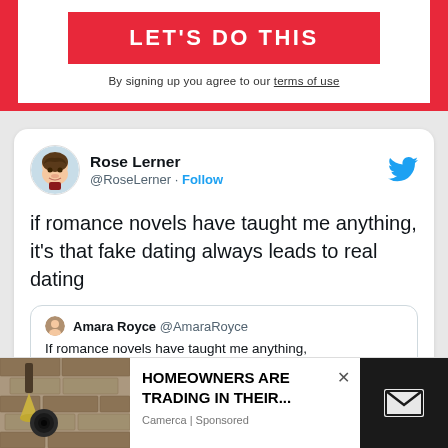LET'S DO THIS
By signing up you agree to our terms of use
Rose Lerner @RoseLerner · Follow
if romance novels have taught me anything, it's that fake dating always leads to real dating
Amara Royce @AmaraRoyce
If romance novels have taught me anything, male always
[Figure (screenshot): Ad overlay: image of outdoor wall lamp with security camera, text HOMEOWNERS ARE TRADING IN THEIR... Camerca | Sponsored, with close X button and email icon on right]
[Figure (screenshot): Twitter bird logo in blue on top right of tweet card]